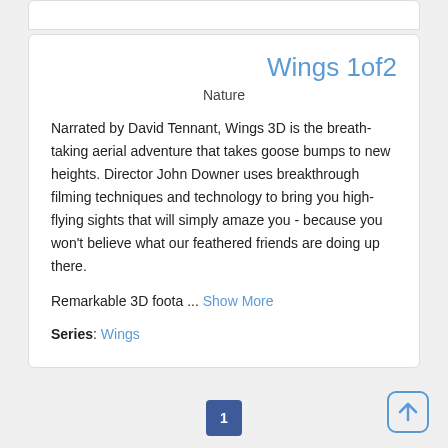Wings 1of2
Nature
Narrated by David Tennant, Wings 3D is the breath-taking aerial adventure that takes goose bumps to new heights. Director John Downer uses breakthrough filming techniques and technology to bring you high-flying sights that will simply amaze you - because you won't believe what our feathered friends are doing up there.
Remarkable 3D foota ... Show More
Series: Wings
1